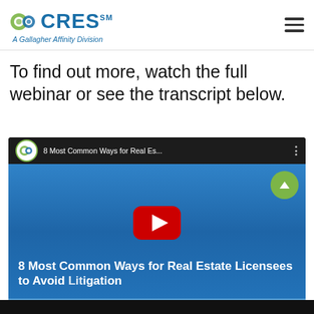CRES — A Gallagher Affinity Division
To find out more, watch the full webinar or see the transcript below.
[Figure (screenshot): YouTube video thumbnail for CRES webinar titled '8 Most Common Ways for Real Estate Licensees to Avoid [Litigation]' — A CRES Risk Management Webinar, with YouTube play button overlay and CRES logo in bottom right corner.]